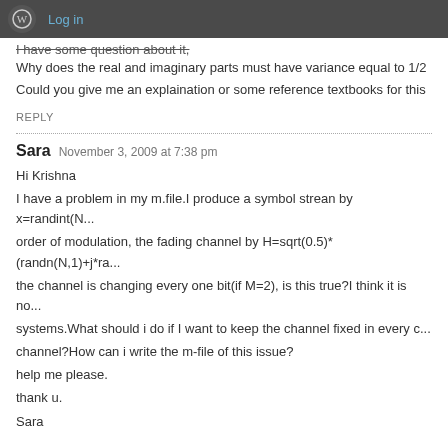Log in
I have some question about it,
Why does the real and imaginary parts must have variance equal to 1/2
Could you give me an explaination or some reference textbooks for this
REPLY
Sara   November 3, 2009 at 7:38 pm
Hi Krishna
I have a problem in my m.file.I produce a symbol strean by x=randint(N... order of modulation, the fading channel by H=sqrt(0.5)*(randn(N,1)+j*ra... the channel is changing every one bit(if M=2), is this true?I think it is no... systems.What should i do if I want to keep the channel fixed in every c... channel?How can i write the m-file of this issue?
help me please.
thank u.
Sara
REPLY